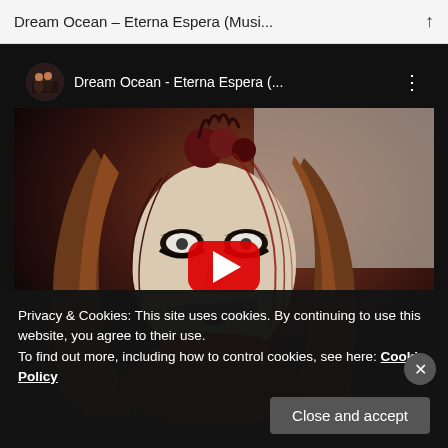Dream Ocean – Eterna Espera (Musi...
[Figure (screenshot): YouTube video embed showing 'Dream Ocean - Eterna Espera (... ' with a thumbnail of a woman with gothic makeup, red outfit and headdress, biting a knife, with a red YouTube play button overlay. The video title bar shows the channel avatar and title.]
Privacy & Cookies: This site uses cookies. By continuing to use this website, you agree to their use.
To find out more, including how to control cookies, see here: Cookie Policy
Close and accept